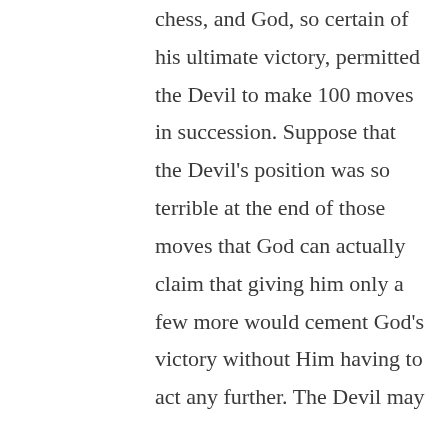chess, and God, so certain of his ultimate victory, permitted the Devil to make 100 moves in succession. Suppose that the Devil's position was so terrible at the end of those moves that God can actually claim that giving him only a few more would cement God's victory without Him having to act any further. The Devil may